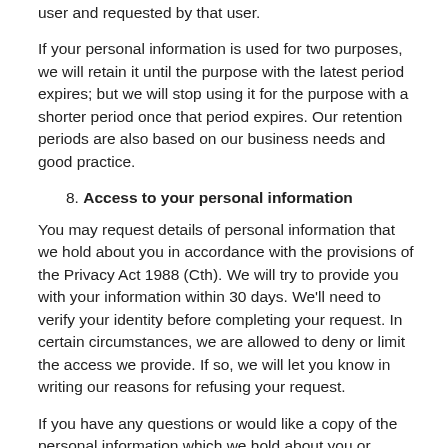user and requested by that user.
If your personal information is used for two purposes, we will retain it until the purpose with the latest period expires; but we will stop using it for the purpose with a shorter period once that period expires. Our retention periods are also based on our business needs and good practice.
8. Access to your personal information
You may request details of personal information that we hold about you in accordance with the provisions of the Privacy Act 1988 (Cth). We will try to provide you with your information within 30 days. We'll need to verify your identity before completing your request. In certain circumstances, we are allowed to deny or limit the access we provide. If so, we will let you know in writing our reasons for refusing your request.
If you have any questions or would like a copy of the personal information which we hold about you or believe that any personal information we hold on you is inaccurate, out of date, incomplete, irrelevant or misleading, please contact us via chris@mint.law .
The Company endeavours to ensure, but in no way